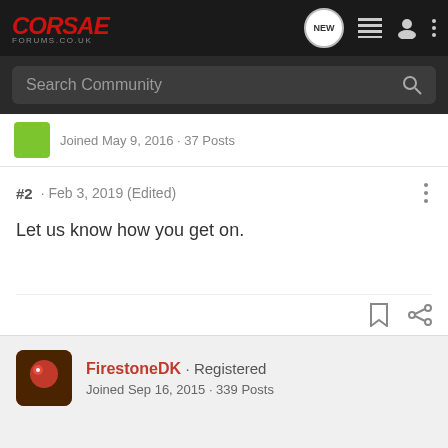CORSAE FORUMS.CO.UK — navigation bar with NEW, list, user, and more icons
Search Community
Joined May 9, 2016 · 37 Posts
#2 · Feb 3, 2019 (Edited)
Let us know how you get on.
FirestoneDK · Registered
Joined Sep 16, 2015 · 339 Posts